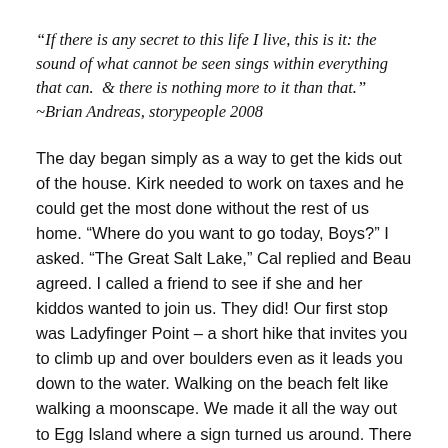“If there is any secret to this life I live, this is it: the sound of what cannot be seen sings within everything that can.  & there is nothing more to it than that.” ~Brian Andreas, storypeople 2008
The day began simply as a way to get the kids out of the house. Kirk needed to work on taxes and he could get the most done without the rest of us home. “Where do you want to go today, Boys?” I asked. “The Great Salt Lake,” Cal replied and Beau agreed. I called a friend to see if she and her kiddos wanted to join us. They did! Our first stop was Ladyfinger Point – a short hike that invites you to climb up and over boulders even as it leads you down to the water. Walking on the beach felt like walking a moonscape. We made it all the way out to Egg Island where a sign turned us around. There was a hush over the little island that had at its interior a few short trees that the birds